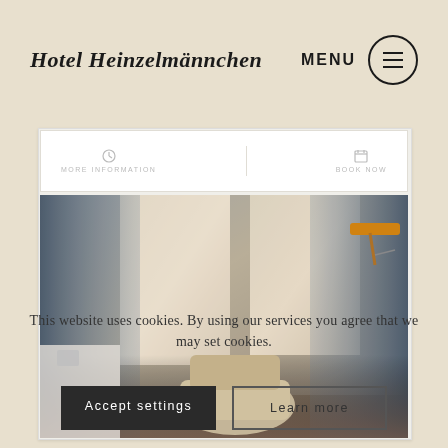Hotel Heinzelmännchen
[Figure (screenshot): Hotel booking interface with two sections: MORE INFORMATION (left) and BOOK NOW (right), showing a white booking bar]
[Figure (photo): Hotel room interior photo showing windows with blue-grey curtains, sheer white curtains, a floral armchair, wooden furniture, and an orange desk lamp on the right]
This website uses cookies. By using our services you agree that we may set cookies.
Accept settings
Learn more